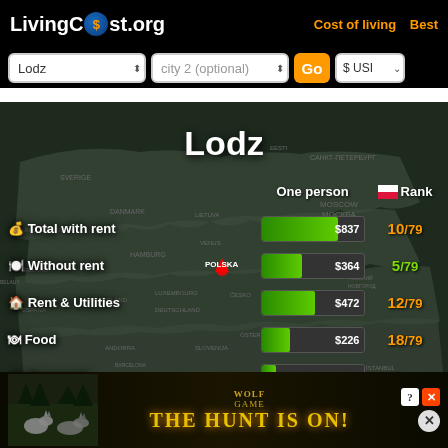[Figure (screenshot): LivingCost.org website header with logo, navigation links 'Cost of living' and 'Best', search dropdowns for 'Lodz' and 'city 2 (optional)', Go button, and currency selector '$ USI']
[Figure (infographic): Dark map of Europe with 'Lodz' city overlay showing cost of living data. Rows: Total with rent $837 rank 10/79, Without rent $364 rank 5/79, Rent & Utilities $472 rank 12/79, Food $226 rank 18/79, Transport $56.1 rank 4/79, Monthly salary after tax $861 rank 17/79. Bar chart with green bars for costs and orange for salary.]
[Figure (photo): Wolf game advertisement banner at bottom with wolves, golden text 'THE HUNT IS ON!', close buttons]